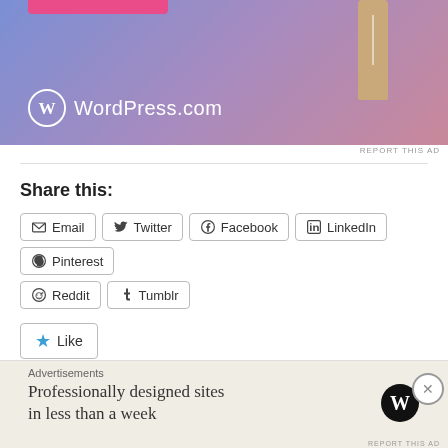[Figure (illustration): WordPress.com advertisement banner with purple-pink gradient background, a pencil illustration on the right, a pink button at top, and WordPress.com logo with text at bottom left]
REPORT THIS AD
Share this:
Email  Twitter  Facebook  LinkedIn  Pinterest  Reddit  Tumblr
Like  Be the first to like this.
Advertisements  Professionally designed sites in less than a week